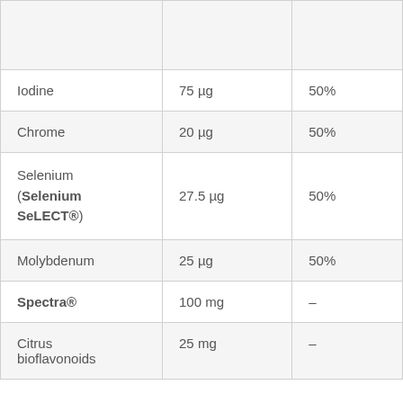| Ingredient | Amount | % DV |
| --- | --- | --- |
| (partial, cut off) | 1 g (cut off) | – |
| Iodine | 75 µg | 50% |
| Chrome | 20 µg | 50% |
| Selenium (Selenium SeLECT®) | 27.5 µg | 50% |
| Molybdenum | 25 µg | 50% |
| Spectra® | 100 mg | – |
| Citrus bioflavonoids | 25 mg | – |